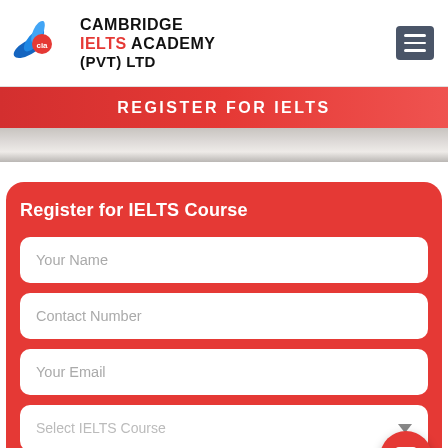[Figure (logo): Cambridge IELTS Academy (PVT) LTD logo with stylized bird/wing mark in blue and red]
CAMBRIDGE IELTS ACADEMY (PVT) LTD
REGISTER FOR IELTS
Register for IELTS Course
Your Name
Contact Number
Your Email
Select IELTS Course